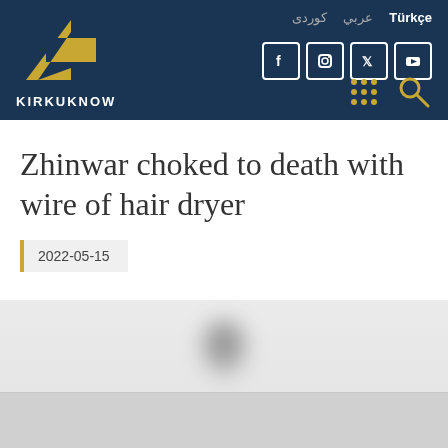[Figure (screenshot): KirkukNow website header with logo (golden arrow/chevron shape and KIRKUKNOW text), navigation links in Arabic, Kurdish, and Turkish, social media icons (Facebook, Instagram, Twitter, YouTube), and search/grid icons on dark navy background]
Zhinwar choked to death with wire of hair dryer
2022-05-15
[Figure (photo): Blurred/redacted image on light grey background showing an obscured dark figure, likely a news article image that has been blurred for sensitivity reasons]